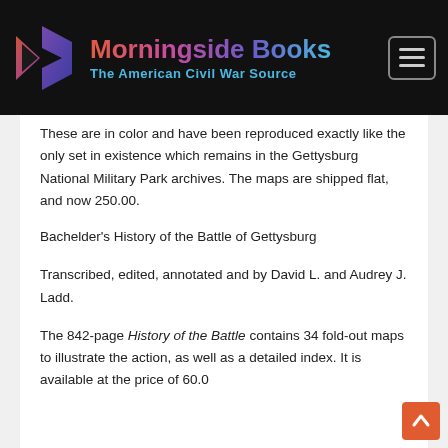Morningside Books — The American Civil War Source
These are in color and have been reproduced exactly like the only set in existence which remains in the Gettysburg National Military Park archives. The maps are shipped flat, and now 250.00.
Bachelder's History of the Battle of Gettysburg
Transcribed, edited, annotated and by David L. and Audrey J. Ladd.
The 842-page History of the Battle contains 34 fold-out maps to illustrate the action, as well as a detailed index. It is available at the price of 60.0